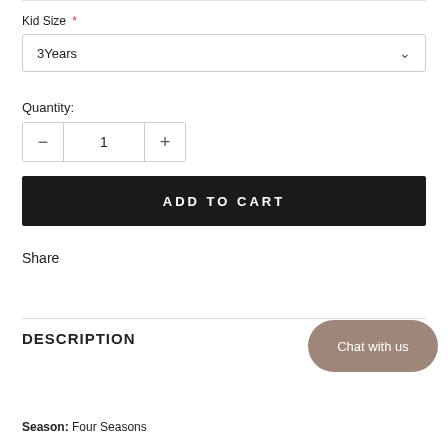Kid Size *
3Years
Quantity:
1
ADD TO CART
Share
DESCRIPTION
Chat with us
Season: Four Seasons